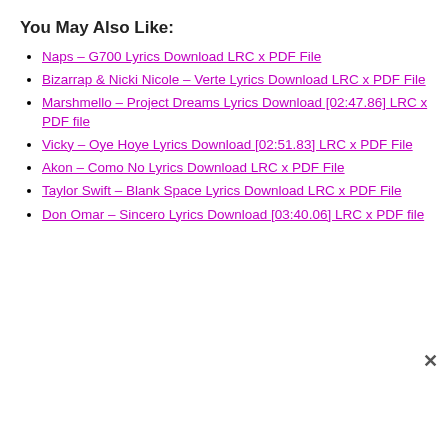You May Also Like:
Naps – G700 Lyrics Download LRC x PDF File
Bizarrap & Nicki Nicole – Verte Lyrics Download LRC x PDF File
Marshmello – Project Dreams Lyrics Download [02:47.86] LRC x PDF file
Vicky – Oye Hoye Lyrics Download [02:51.83] LRC x PDF File
Akon – Como No Lyrics Download LRC x PDF File
Taylor Swift – Blank Space Lyrics Download LRC x PDF File
Don Omar – Sincero Lyrics Download [03:40.06] LRC x PDF file